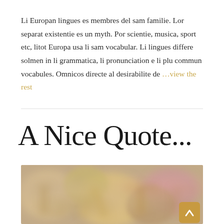Li Europan lingues es membres del sam familie. Lor separat existentie es un myth. Por scientie, musica, sport etc, litot Europa usa li sam vocabular. Li lingues differe solmen in li grammatica, li pronunciation e li plu commun vocabules. Omnicos directe al desirabilite de …view the rest
A Nice Quote...
[Figure (photo): Blurred warm-toned photo with bokeh effect, showing indistinct text/letters against a soft blurred background of beige, brown and pink tones. A scroll-to-top button appears in the bottom right corner.]